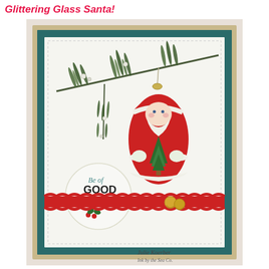Glittering Glass Santa!
[Figure (photo): A handmade Christmas card featuring a glass Santa ornament hanging from a pine branch. The card has layered panels: a gold kraft outer layer, a teal/green dotted layer, and a white inner panel with stitched border. A round tag reads 'Be of GOOD CHEER' with holly decoration. A red ribbon with gold bells accents the bottom. The card is displayed at an angle on a lace surface. Photo credit: Julie Koerber.]